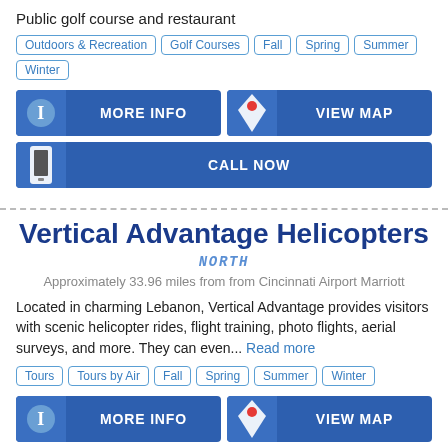Public golf course and restaurant
Outdoors & Recreation
Golf Courses
Fall
Spring
Summer
Winter
MORE INFO
VIEW MAP
CALL NOW
Vertical Advantage Helicopters
NORTH
Approximately 33.96 miles from from Cincinnati Airport Marriott
Located in charming Lebanon, Vertical Advantage provides visitors with scenic helicopter rides, flight training, photo flights, aerial surveys, and more. They can even... Read more
Tours
Tours by Air
Fall
Spring
Summer
Winter
MORE INFO
VIEW MAP
CALL NOW